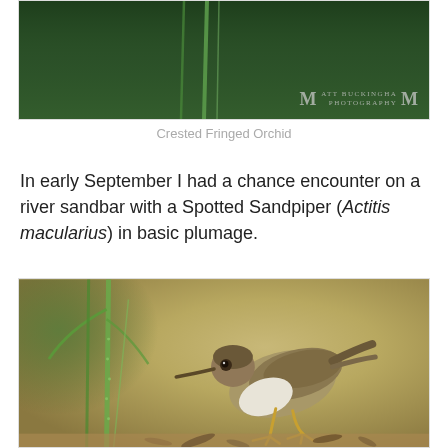[Figure (photo): Close-up nature photo with dark green background showing vertical plant stems, with Matt Buckingham Photography watermark in lower right corner. This is the bottom portion of a Crested Fringed Orchid photograph.]
Crested Fringed Orchid
In early September I had a chance encounter on a river sandbar with a Spotted Sandpiper (Actitis macularius) in basic plumage.
[Figure (photo): Close-up wildlife photo of a Spotted Sandpiper (Actitis macularius) in basic plumage standing on a river sandbar with sandy/muddy ground and dry plant debris. The bird has brown upperparts, white underparts, and yellowish legs. Green plant stems are visible on the left side. Warm tan/brown blurred background.]